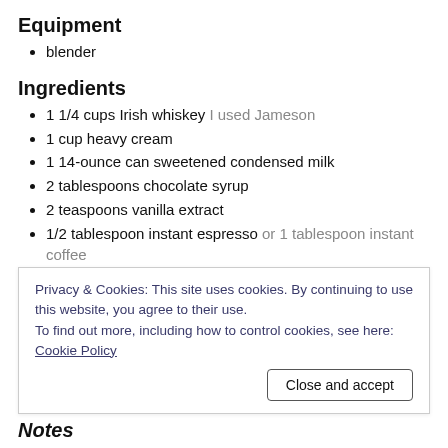Equipment
blender
Ingredients
1 1/4 cups Irish whiskey I used Jameson
1 cup heavy cream
1 14-ounce can sweetened condensed milk
2 tablespoons chocolate syrup
2 teaspoons vanilla extract
1/2 tablespoon instant espresso or 1 tablespoon instant coffee
Instructions
Combine all ingredients in a blender and blend briefly until
Privacy & Cookies: This site uses cookies. By continuing to use this website, you agree to their use. To find out more, including how to control cookies, see here: Cookie Policy
Notes